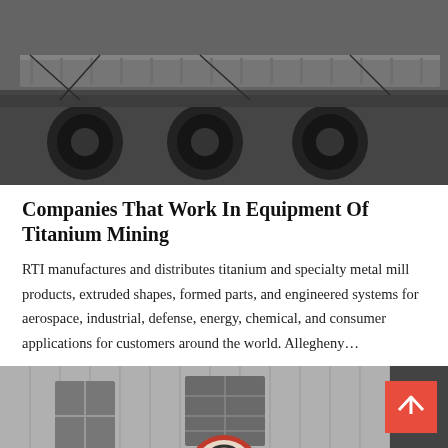[Figure (photo): Photo of a truck flatbed with wheels visible, taken from low angle, dark industrial setting]
Companies That Work In Equipment Of Titanium Mining
RTI manufactures and distributes titanium and specialty metal mill products, extruded shapes, formed parts, and engineered systems for aerospace, industrial, defense, energy, chemical, and consumer applications for customers around the world. Allegheny…
[Figure (photo): Photo of an industrial building exterior with windows, grayscale, with a customer service representative chat overlay at bottom and Leave Message / Chat Online buttons]
Leave Message
Chat Online